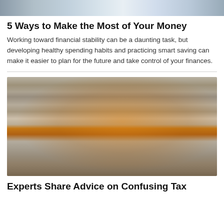[Figure (photo): Top portion of a photo, partially cropped — appears to show papers/documents on a surface]
5 Ways to Make the Most of Your Money
Working toward financial stability can be a daunting task, but developing healthy spending habits and practicing smart saving can make it easier to plan for the future and take control of your finances.
[Figure (photo): A young Black woman in an orange shirt sits at a kitchen table working on a laptop, with papers scattered in front of her. A clock and shelves with plants and kitchenware are visible in the background.]
Experts Share Advice on Confusing Tax